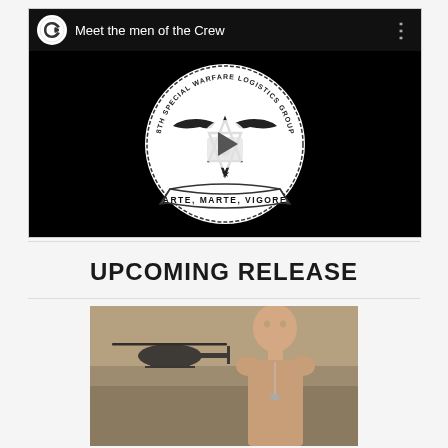[Figure (screenshot): YouTube-style embedded video player showing a dark background with a military unit seal (8th Special Warfare Logistics Group, Arte Marte Vigore) and a play button overlay. Top bar shows a channel icon and title 'Meet the men of the Crew'.]
UPCOMING RELEASE
[Figure (photo): A shirtless man in the foreground with a military helicopter in the background against a stone wall setting.]